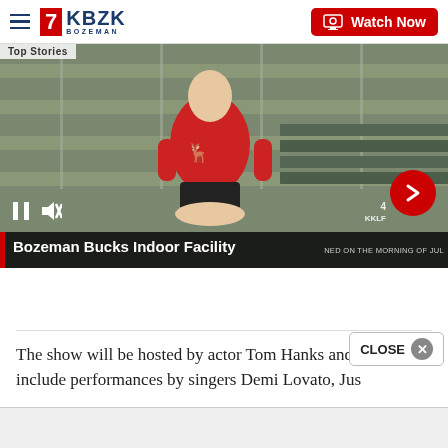KBZK BOZEMAN — Watch Now
[Figure (screenshot): Video player showing man in red shirt sitting on bleachers, with lower-third caption 'Bozeman Bucks Indoor Facility'. Playback controls visible. Partial text 'NED ON THE MORNING OF JUL' visible on lower right.]
The show will be hosted by actor Tom Hanks and will include performances by singers Demi Lovato, Jus